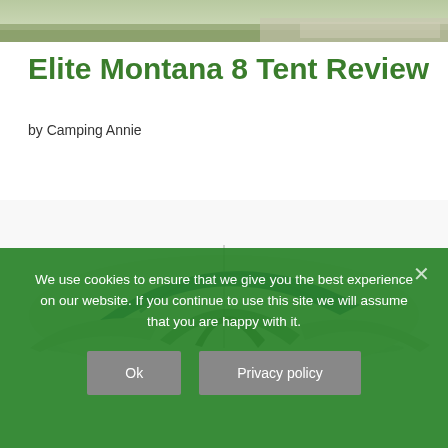[Figure (photo): Narrow horizontal strip of outdoor landscape/ground photo at the top of the page]
Elite Montana 8 Tent Review
by Camping Annie
[Figure (photo): Photo of a blue and white/grey large camping tent (Coleman Montana 8 style)]
We use cookies to ensure that we give you the best experience on our website. If you continue to use this site we will assume that you are happy with it.